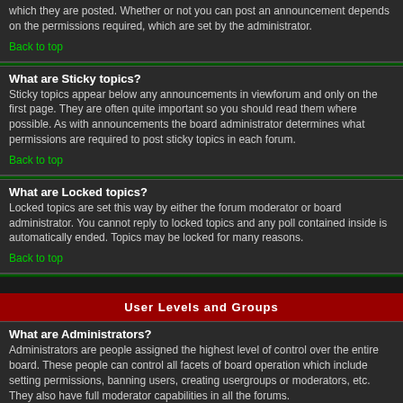which they are posted. Whether or not you can post an announcement depends on the permissions required, which are set by the administrator.
Back to top
What are Sticky topics?
Sticky topics appear below any announcements in viewforum and only on the first page. They are often quite important so you should read them where possible. As with announcements the board administrator determines what permissions are required to post sticky topics in each forum.
Back to top
What are Locked topics?
Locked topics are set this way by either the forum moderator or board administrator. You cannot reply to locked topics and any poll contained inside is automatically ended. Topics may be locked for many reasons.
Back to top
User Levels and Groups
What are Administrators?
Administrators are people assigned the highest level of control over the entire board. These people can control all facets of board operation which include setting permissions, banning users, creating usergroups or moderators, etc. They also have full moderator capabilities in all the forums.
Back to top